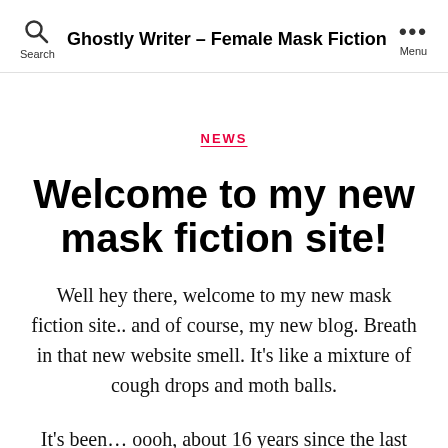Ghostly Writer - Female Mask Fiction
NEWS
Welcome to my new mask fiction site!
Well hey there, welcome to my new mask fiction site.. and of course, my new blog. Breath in that new website smell. It's like a mixture of cough drops and moth balls.
It's been... oooh, about 16 years since the last